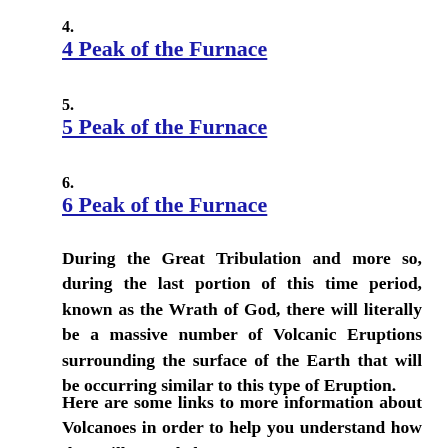4.4 Peak of the Furnace
5.5 Peak of the Furnace
6.6 Peak of the Furnace
During the Great Tribulation and more so, during the last portion of this time period, known as the Wrath of God, there will literally be a massive number of Volcanic Eruptions surrounding the surface of the Earth that will be occurring similar to this type of Eruption.
Here are some links to more information about Volcanoes in order to help you understand how they will overwhelm